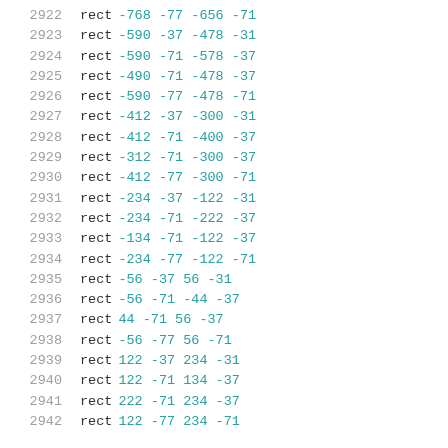2922  rect -768 -77 -656 -71
2923  rect -590 -37 -478 -31
2924  rect -590 -71 -578 -37
2925  rect -490 -71 -478 -37
2926  rect -590 -77 -478 -71
2927  rect -412 -37 -300 -31
2928  rect -412 -71 -400 -37
2929  rect -312 -71 -300 -37
2930  rect -412 -77 -300 -71
2931  rect -234 -37 -122 -31
2932  rect -234 -71 -222 -37
2933  rect -134 -71 -122 -37
2934  rect -234 -77 -122 -71
2935  rect -56 -37 56 -31
2936  rect -56 -71 -44 -37
2937  rect 44 -71 56 -37
2938  rect -56 -77 56 -71
2939  rect 122 -37 234 -31
2940  rect 122 -71 134 -37
2941  rect 222 -71 234 -37
2942  rect 122 -77 234 -71